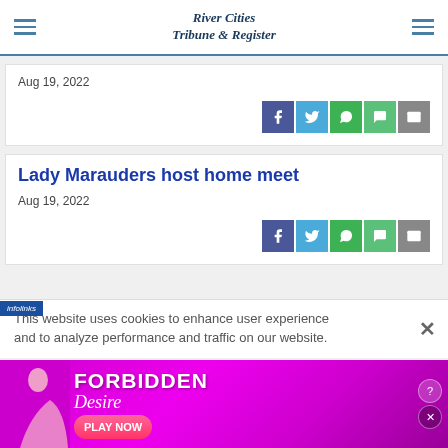River Cities Tribune & Register
Aug 19, 2022
[Figure (other): Social share buttons: Facebook, Twitter, WhatsApp, Message, Email]
Lady Marauders host home meet
Aug 19, 2022
[Figure (other): Social share buttons: Facebook, Twitter, WhatsApp, Message, Email]
This website uses cookies to enhance user experience and to analyze performance and traffic on our website.
[Figure (infographic): Advertisement banner: FORBIDDEN Desire - PLAY NOW]